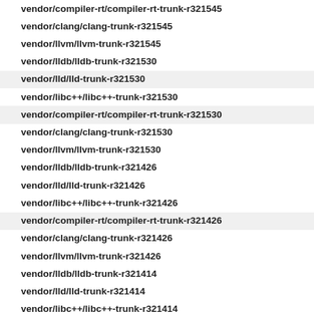vendor/compiler-rt/compiler-rt-trunk-r321545
vendor/clang/clang-trunk-r321545
vendor/llvm/llvm-trunk-r321545
vendor/lldb/lldb-trunk-r321530
vendor/lld/lld-trunk-r321530
vendor/libc++/libc++-trunk-r321530
vendor/compiler-rt/compiler-rt-trunk-r321530
vendor/clang/clang-trunk-r321530
vendor/llvm/llvm-trunk-r321530
vendor/lldb/lldb-trunk-r321426
vendor/lld/lld-trunk-r321426
vendor/libc++/libc++-trunk-r321426
vendor/compiler-rt/compiler-rt-trunk-r321426
vendor/clang/clang-trunk-r321426
vendor/llvm/llvm-trunk-r321426
vendor/lldb/lldb-trunk-r321414
vendor/lld/lld-trunk-r321414
vendor/libc++/libc++-trunk-r321414
vendor/compiler-rt/compiler-rt-trunk-r321414
vendor/clang/clang-trunk-r321414
vendor/llvm/llvm-trunk-r321414
vendor/lldb/lldb-trunk-r321017
vendor/lld/lld-trunk-r321017
vendor/libc++/libc++-trunk-r321017
vendor/compiler-rt/compiler-rt-trunk-r321017
vendor/clang/clang-trunk-r321017